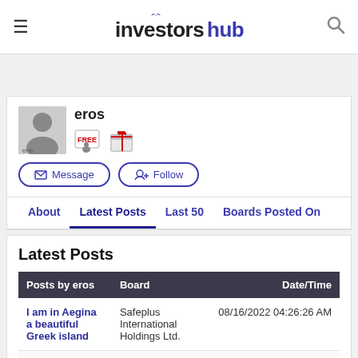InvestorsHub
eros
Message  Follow
About  Latest Posts  Last 50  Boards Posted On
Latest Posts
| Posts by eros | Board | Date/Time |
| --- | --- | --- |
| I am in Aegina a beautiful Greek island | Safeplus International Holdings Ltd. | 08/16/2022 04:26:26 AM |
| Hi guys | Safeplus International Holdings Ltd. | 04/11/2022 07:44:35 PM |